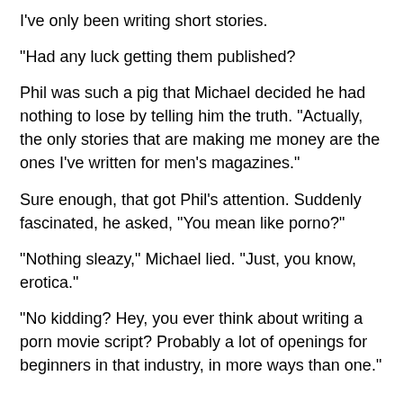I've only been writing short stories.
"Had any luck getting them published?
Phil was such a pig that Michael decided he had nothing to lose by telling him the truth. "Actually, the only stories that are making me money are the ones I've written for men's magazines."
Sure enough, that got Phil's attention. Suddenly fascinated, he asked, "You mean like porno?"
"Nothing sleazy," Michael lied. "Just, you know, erotica."
“No kidding? Hey, you ever think about writing a porn movie script? Probably a lot of openings for beginners in that industry, in more ways than one."